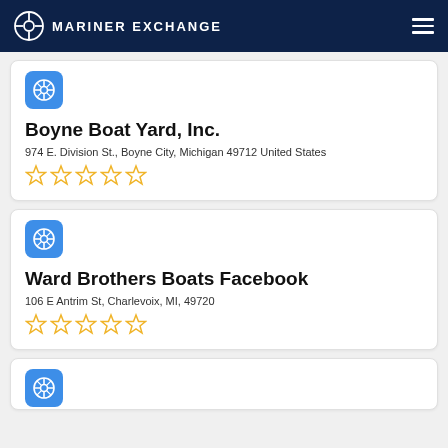MARINER EXCHANGE
Boyne Boat Yard, Inc.
974 E. Division St., Boyne City, Michigan 49712 United States
Ward Brothers Boats Facebook
106 E Antrim St, Charlevoix, MI, 49720